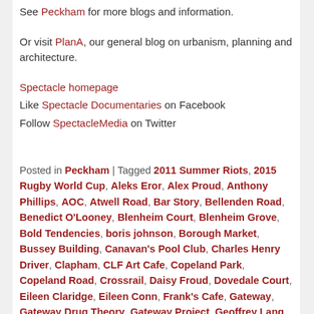See Peckham for more blogs and information.
Or visit PlanA, our general blog on urbanism, planning and architecture.
Spectacle homepage
Like Spectacle Documentaries on Facebook
Follow SpectacleMedia on Twitter
Posted in Peckham | Tagged 2011 Summer Riots, 2015 Rugby World Cup, Aleks Eror, Alex Proud, Anthony Phillips, AOC, Atwell Road, Bar Story, Bellenden Road, Benedict O'Looney, Blenheim Court, Blenheim Grove, Bold Tendencies, boris johnson, Borough Market, Bussey Building, Canavan's Pool Club, Charles Henry Driver, Clapham, CLF Art Cafe, Copeland Park, Copeland Road, Crossrail, Daisy Froud, Dovedale Court, Eileen Claridge, Eileen Conn, Frank's Cafe, Gateway, Gateway Drug Theory, Gateway Project, Geoffrey Lang, GLA, Greater London Authority, Harris Academy Peckham, Holly Grove, Il Giardinio, Innovation Interiors, Martin Clarke, Mary Portas, Mayor of London, Michael Heseltine, Network Rail, Network Rail Commercial Estate, Nunhead, Overground